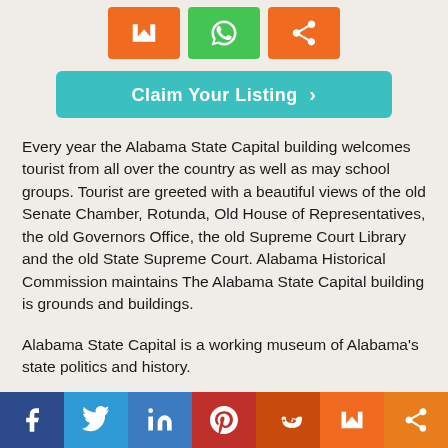[Figure (infographic): Row of social media share icon buttons: Mix (orange), WhatsApp (green), Share (orange)]
[Figure (infographic): Teal 'Claim Your Listing' button with arrow]
Every year the Alabama State Capital building welcomes tourist from all over the country as well as may school groups. Tourist are greeted with a beautiful views of the old Senate Chamber, Rotunda, Old House of Representatives, the old Governors Office, the old Supreme Court Library and the old State Supreme Court. Alabama Historical Commission maintains The Alabama State Capital building is grounds and buildings.
Alabama State Capital is a working museum of Alabama's state politics and history.
[Figure (infographic): Footer social media bar with icons: Facebook (dark blue), Twitter (blue), LinkedIn (medium blue), Pinterest (red), Reddit (orange-red), Mix (orange), Share (orange)]